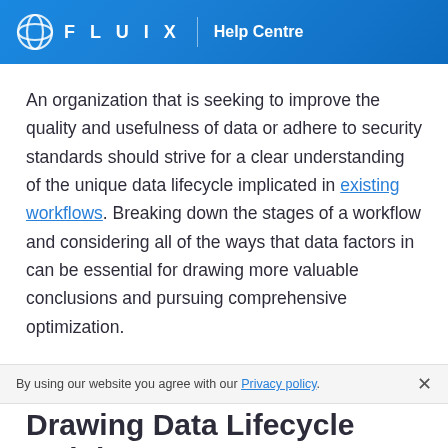FLUIX | Help Centre
An organization that is seeking to improve the quality and usefulness of data or adhere to security standards should strive for a clear understanding of the unique data lifecycle implicated in existing workflows. Breaking down the stages of a workflow and considering all of the ways that data factors in can be essential for drawing more valuable conclusions and pursuing comprehensive optimization.
By using our website you agree with our Privacy policy.
Drawing Data Lifecycle Insights